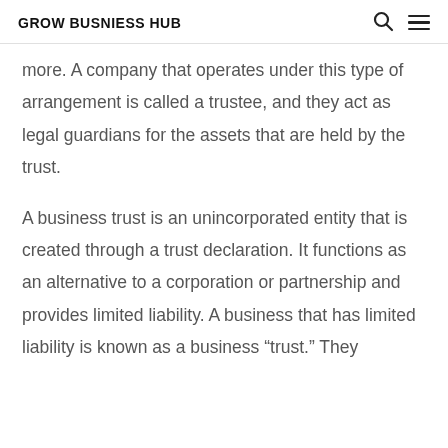GROW BUSNIESS HUB
more. A company that operates under this type of arrangement is called a trustee, and they act as legal guardians for the assets that are held by the trust.
A business trust is an unincorporated entity that is created through a trust declaration. It functions as an alternative to a corporation or partnership and provides limited liability. A business that has limited liability is known as a business “trust.” They